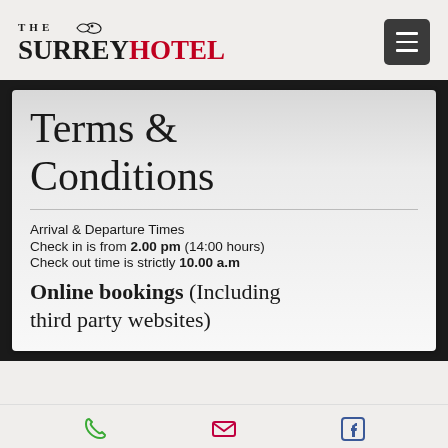[Figure (logo): The Surrey Hotel logo with decorative flourish and red HOTEL text]
Terms & Conditions
Arrival & Departure Times
Check in is from 2.00 pm (14:00 hours)
Check out time is strictly 10.00 a.m
Online bookings (Including third party websites)
Phone | Email | Facebook